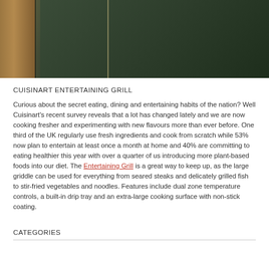[Figure (photo): Partial view of a kitchen or appliance setting with dark green and wood tones, showing what appears to be cabinetry or an appliance door]
CUISINART ENTERTAINING GRILL
Curious about the secret eating, dining and entertaining habits of the nation? Well Cuisinart's recent survey reveals that a lot has changed lately and we are now cooking fresher and experimenting with new flavours more than ever before. One third of the UK regularly use fresh ingredients and cook from scratch while 53% now plan to entertain at least once a month at home and 40% are committing to eating healthier this year with over a quarter of us introducing more plant-based foods into our diet. The Entertaining Grill is a great way to keep up, as the large griddle can be used for everything from seared steaks and delicately grilled fish to stir-fried vegetables and noodles. Features include dual zone temperature controls, a built-in drip tray and an extra-large cooking surface with non-stick coating.
CATEGORIES